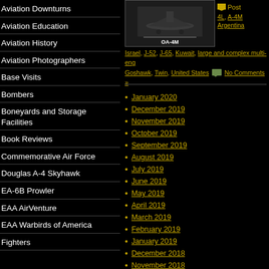Aviation Downturns
Aviation Education
Aviation History
Aviation Photographers
Base Visits
Bombers
Boneyards and Storage Facilities
Book Reviews
Commemorative Air Force
Douglas A-4 Skyhawk
EA-6B Prowler
EAA AirVenture
EAA Warbirds of America
Fighters
[Figure (photo): Aircraft photo labeled OA-4M on dark background]
Post  4L, A-4M  Argentina
Israel, J-52, J-65, Kuwait, large and complex multi-eng Goshawk, Twin, United States  No Comments »
January 2020
December 2019
November 2019
October 2019
September 2019
August 2019
July 2019
June 2019
May 2019
April 2019
March 2019
February 2019
January 2019
December 2018
November 2018